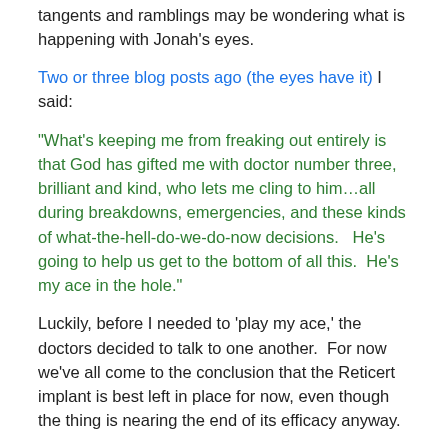tangents and ramblings may be wondering what is happening with Jonah's eyes.
Two or three blog posts ago (the eyes have it) I said:
“What’s keeping me from freaking out entirely is that God has gifted me with doctor number three, brilliant and kind, who lets me cling to him…all during breakdowns, emergencies, and these kinds of what-the-hell-do-we-do-now decisions.   He’s going to help us get to the bottom of all this.  He’s my ace in the hole.”
Luckily, before I needed to ‘play my ace,’ the doctors decided to talk to one another.  For now we’ve all come to the conclusion that the Reticert implant is best left in place for now, even though the thing is nearing the end of its efficacy anyway.